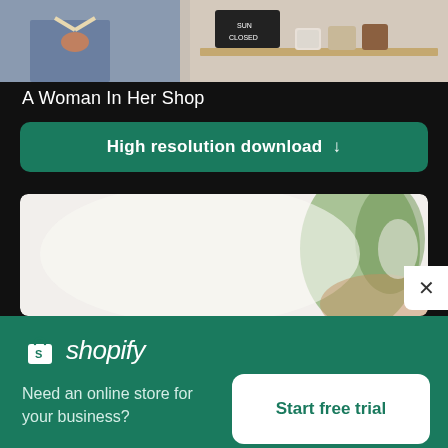[Figure (photo): Cropped photo showing a woman in a denim apron holding something, and a shelf with mugs and a closed sign in a shop setting]
A Woman In Her Shop
High resolution download ↓
[Figure (photo): Blurred interior photo showing a white room with a green plant and warm-toned furniture]
[Figure (logo): Shopify logo — shopping bag icon and 'shopify' wordmark in white on green background]
Need an online store for your business?
Start free trial